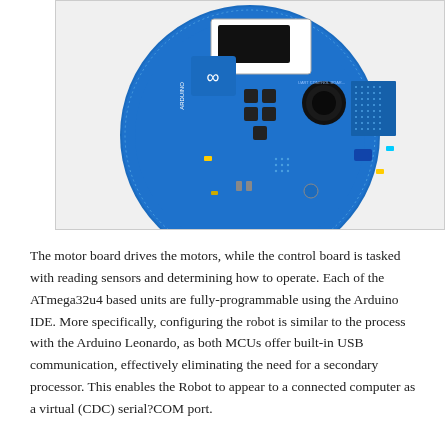[Figure (photo): Top-down photograph of a circular Arduino robot control board (blue PCB) with various components including buttons, LEDs, a speaker, display module, and prototyping areas visible.]
The motor board drives the motors, while the control board is tasked with reading sensors and determining how to operate. Each of the ATmega32u4 based units are fully-programmable using the Arduino IDE. More specifically, configuring the robot is similar to the process with the Arduino Leonardo, as both MCUs offer built-in USB communication, effectively eliminating the need for a secondary processor. This enables the Robot to appear to a connected computer as a virtual (CDC) serial?COM port.